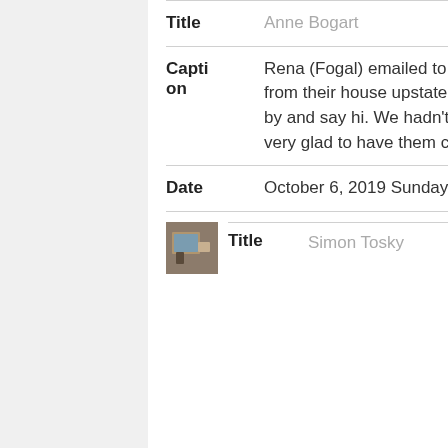| Field | Value |
| --- | --- |
| Title | Anne Bogart |
| Caption | Rena (Fogal) emailed to tell us they were heading south from their house upstate and would it be possible to stop by and say hi. We hadn't seen them for a while and were very glad to have them come for a visit. |
| Date | October 6, 2019 Sunday |
| Field | Value |
| --- | --- |
| Title | Simon Tosky |